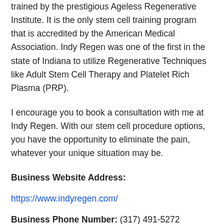trained by the prestigious Ageless Regenerative Institute. It is the only stem cell training program that is accredited by the American Medical Association. Indy Regen was one of the first in the state of Indiana to utilize Regenerative Techniques like Adult Stem Cell Therapy and Platelet Rich Plasma (PRP).
I encourage you to book a consultation with me at Indy Regen. With our stem cell procedure options, you have the opportunity to eliminate the pain, whatever your unique situation may be.
Business Website Address:
https://www.indyregen.com/
Business Phone Number: (317) 491-5272
Business Address: 11530 Allisonville Road Suite 165
Fishers, IN
ZIP Code: 46038